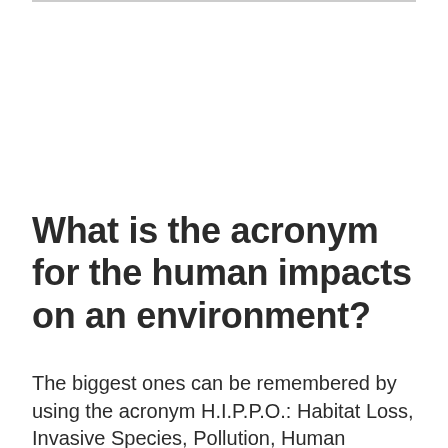What is the acronym for the human impacts on an environment?
The biggest ones can be remembered by using the acronym H.I.P.P.O.: Habitat Loss, Invasive Species, Pollution, Human Population, and Overharvesting.